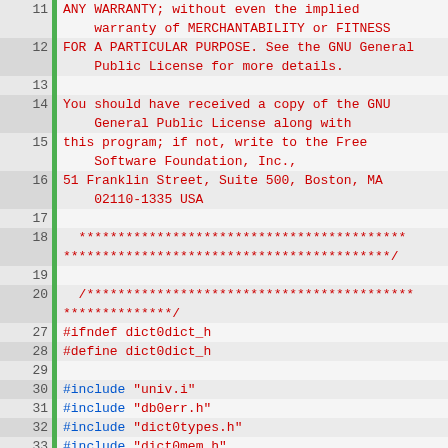Source code viewer showing lines 11-44 of a C header file with GNU license comment and include directives
11: ANY WARRANTY; without even the implied warranty of MERCHANTABILITY or FITNESS
12: FOR A PARTICULAR PURPOSE. See the GNU General Public License for more details.
13: (empty)
14: You should have received a copy of the GNU General Public License along with
15: this program; if not, write to the Free Software Foundation, Inc.,
16: 51 Franklin Street, Suite 500, Boston, MA 02110-1335 USA
17: (empty)
18: ****************************************** ******************************************/
19: (empty)
20: /****************************************** **************/
27: #ifndef dict0dict_h
28: #define dict0dict_h
29: (empty)
30: #include "univ.i"
31: #include "db0err.h"
32: #include "dict0types.h"
33: #include "dict0mem.h"
34: #include "data0type.h"
35: #include "data0data.h"
36: #include "mem0mem.h"
37: #include "rem0types.h"
38: #include "ut0mem.h"
39: #include "ut0lst.h"
40: #include "hash0hash.h"
41: #include "ut0rnd.h"
42: #include "ut0byte.h"
43: #include "trx0types.h"
44: #include "row0types.h"